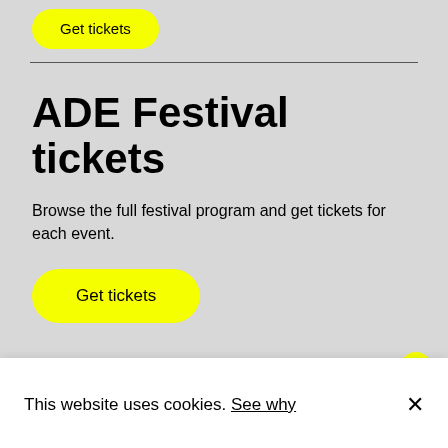[Figure (screenshot): Yellow 'Get tickets' button at top of page, partially visible]
ADE Festival tickets
Browse the full festival program and get tickets for each event.
[Figure (screenshot): Yellow 'Get tickets' button]
This website uses cookies. See why ×